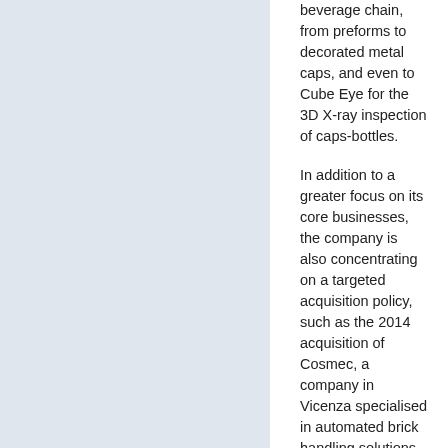beverage chain, from preforms to decorated metal caps, and even to Cube Eye for the 3D X-ray inspection of caps-bottles.
In addition to a greater focus on its core businesses, the company is also concentrating on a targeted acquisition policy, such as the 2014 acquisition of Cosmec, a company in Vicenza specialised in automated brick handling solutions. A farsighted operation that is able to provide a decisive impetus to the Group's position in the Heavy Clay industry, also thanks to the commercial and productive synergy with Gaiotto Automation, the Group company specialised in the design of process automation solutions.
In addition, other activities continued in order to operate in a widespread manner, near our markets and customers around the world: this is reflected by our decision, for example, in 2014 to centralise the Beverage sales management as well as to make new investments in emerging countries and areas